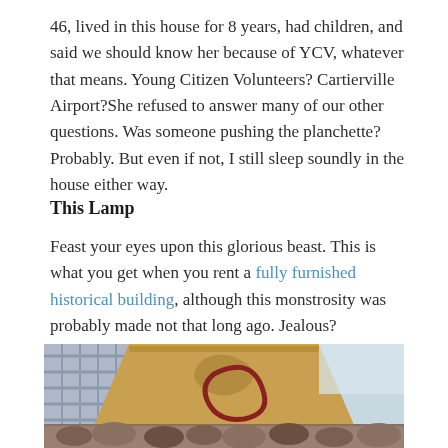46, lived in this house for 8 years, had children, and said we should know her because of YCV, whatever that means. Young Citizen Volunteers? Cartierville Airport?She refused to answer many of our other questions. Was someone pushing the planchette? Probably. But even if not, I still sleep soundly in the house either way.
This Lamp
Feast your eyes upon this glorious beast. This is what you get when you rent a fully furnished historical building, although this monstrosity was probably made not that long ago. Jealous?
[Figure (photo): Close-up photograph of an ornate vintage lamp with a furry/shaggy base and a decorative yellowed lampshade featuring painted floral designs and trimmed with gold braid edging, with a plaid fabric visible behind.]